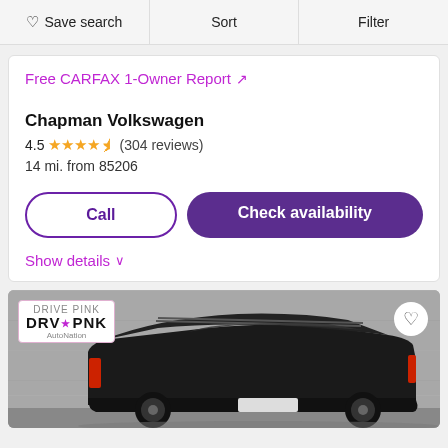♡ Save search   Sort   Filter
Free CARFAX 1-Owner Report ↗
Chapman Volkswagen
4.5 ★★★★½ (304 reviews)
14 mi. from 85206
Call   Check availability
Show details ∨
[Figure (photo): Dark SUV vehicle (Volkswagen) photographed from the rear three-quarter view against a concrete wall background. DRV PNK AutoNation badge in top left corner. Heart/favorite icon in top right corner.]